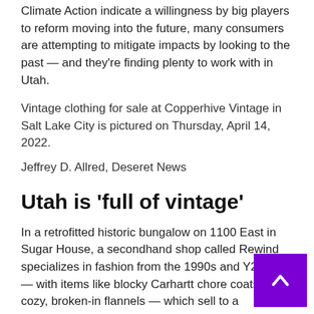Climate Action indicate a willingness by big players to reform moving into the future, many consumers are attempting to mitigate impacts by looking to the past — and they're finding plenty to work with in Utah.
Vintage clothing for sale at Copperhive Vintage in Salt Lake City is pictured on Thursday, April 14, 2022.
Jeffrey D. Allred, Deseret News
Utah is 'full of vintage'
In a retrofitted historic bungalow on 1100 East in Sugar House, a secondhand shop called Rewind specializes in fashion from the 1990s and Y2K era — with items like blocky Carhartt chore coats and cozy, broken-in flannels — which sell to a predominantly millennial clientele who may or may not have been around when the styles debuted.
The late 20th century is not the only pivot for fashion in